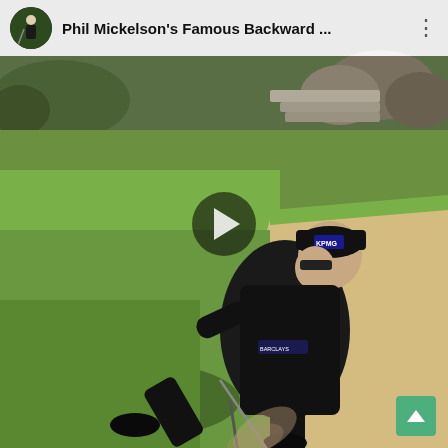[Figure (screenshot): Screenshot of a YouTube/social media video thumbnail showing Phil Mickelson performing his famous backward golf shot from a bunker. He is dressed in all black with a KPMG cap, leaning forward mid-swing on a golf course with green grass and rocky background. A white play button is overlaid in the center. The top bar shows a circular avatar icon and the title 'Phil Mickelson's Famous Backward ...' with a three-dot menu. A green scroll-up button is visible in the bottom right corner.]